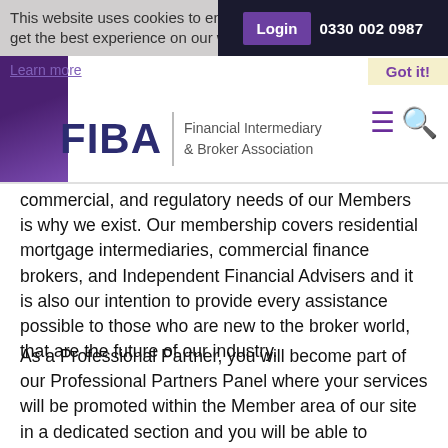This website uses cookies to ensure you get the best experience on our website. Login  0330 002 0987  Got it!  Learn more
[Figure (logo): FIBA - Financial Intermediary & Broker Association logo with purple left accent strip, hamburger menu and search icons]
commercial, and regulatory needs of our Members is why we exist. Our membership covers residential mortgage intermediaries, commercial finance brokers, and Independent Financial Advisers and it is also our intention to provide every assistance possible to those who are new to the broker world, that are the future of our industry.
As a Professional Partner, you will become part of our Professional Partners Panel where your services will be promoted within the Member area of our site in a dedicated section and you will be able to participate in our regular regional events programme as well as at